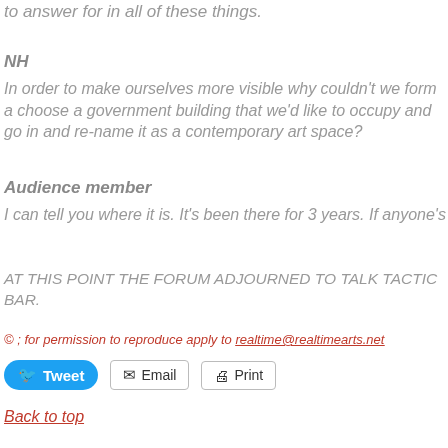to answer for in all of these things.
NH
In order to make ourselves more visible why couldn't we form a choose a government building that we'd like to occupy and go in and re-name it as a contemporary art space?
Audience member
I can tell you where it is. It's been there for 3 years. If anyone's
AT THIS POINT THE FORUM ADJOURNED TO TALK TACTIC BAR.
© ; for permission to reproduce apply to realtime@realtimearts.net
Tweet  Email  Print
Back to top